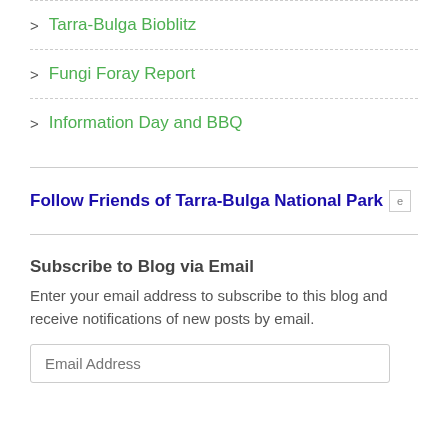Tarra-Bulga Bioblitz
Fungi Foray Report
Information Day and BBQ
Follow Friends of Tarra-Bulga National Park
Subscribe to Blog via Email
Enter your email address to subscribe to this blog and receive notifications of new posts by email.
Email Address